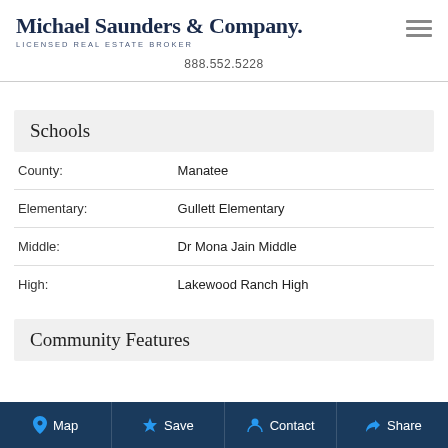Michael Saunders & Company. LICENSED REAL ESTATE BROKER
888.552.5228
Schools
|  |  |
| --- | --- |
| County: | Manatee |
| Elementary: | Gullett Elementary |
| Middle: | Dr Mona Jain Middle |
| High: | Lakewood Ranch High |
Community Features
Map  Save  Contact  Share